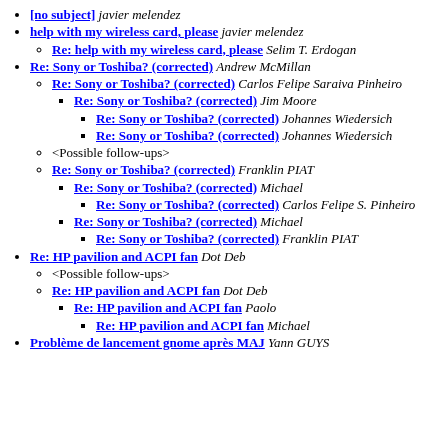[no subject] javier melendez
help with my wireless card, please javier melendez
Re: help with my wireless card, please Selim T. Erdogan
Re: Sony or Toshiba? (corrected) Andrew McMillan
Re: Sony or Toshiba? (corrected) Carlos Felipe Saraiva Pinheiro
Re: Sony or Toshiba? (corrected) Jim Moore
Re: Sony or Toshiba? (corrected) Johannes Wiedersich
Re: Sony or Toshiba? (corrected) Johannes Wiedersich
<Possible follow-ups>
Re: Sony or Toshiba? (corrected) Franklin PIAT
Re: Sony or Toshiba? (corrected) Michael
Re: Sony or Toshiba? (corrected) Carlos Felipe S. Pinheiro
Re: Sony or Toshiba? (corrected) Michael
Re: Sony or Toshiba? (corrected) Franklin PIAT
Re: HP pavilion and ACPI fan Dot Deb
<Possible follow-ups>
Re: HP pavilion and ACPI fan Dot Deb
Re: HP pavilion and ACPI fan Paolo
Re: HP pavilion and ACPI fan Michael
Problème de lancement gnome après MAJ Yann GUYS